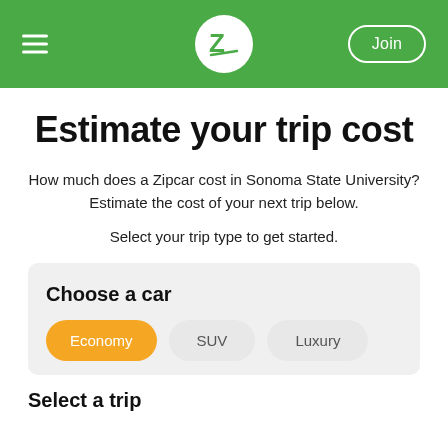[Figure (logo): Zipcar navigation header with hamburger menu, Zipcar logo (white Z on green circle), and Join button]
Estimate your trip cost
How much does a Zipcar cost in Sonoma State University? Estimate the cost of your next trip below.
Select your trip type to get started.
Choose a car
Economy
SUV
Luxury
Select a trip